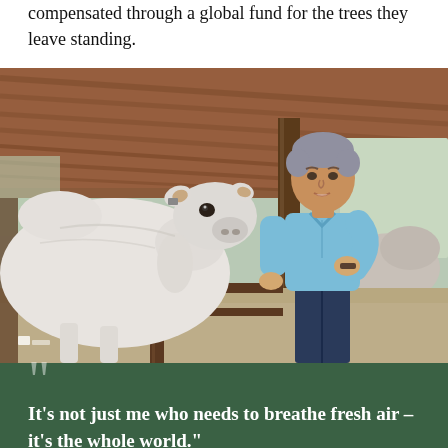compensated through a global fund for the trees they leave standing.
[Figure (photo): A man in a light blue polo shirt stands in a covered barn/stable area next to a large white Brahman cattle. The setting appears to be a farm in a tropical region, with a corrugated metal roof overhead and wooden stall structures visible in the background.]
“It’s not just me who needs to breathe fresh air – it’s the whole world.”